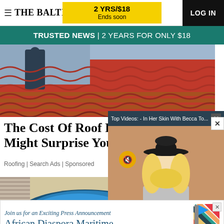THE BALTIMORE SUN | 2 YRS/$18 Ends soon | LOG IN
TRUSTED NEWS | 2 YEARS FOR ONLY $18
[Figure (photo): Worker on red metal tile roof, installing roofing materials]
The Cost Of Roof R... Might Surprise You
Roofing | Search Ads | Sponsored
[Figure (screenshot): Video overlay: Top Videos - In Her Skin With Becca To... showing blonde woman with black hat]
[Figure (photo): Blue inflatable pool toy and outdoor scene]
ADVERTISEMENT
[Figure (other): Advertisement: Join us for an Exciting Press Announcement — African Diaspora Maritime, with colorful flag stripes]